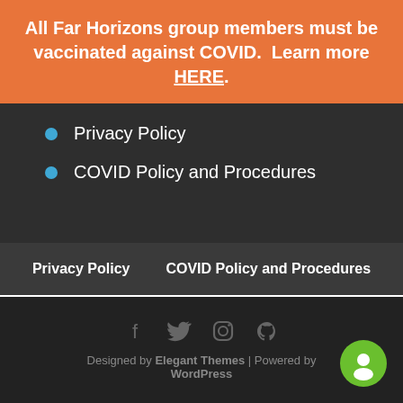All Far Horizons group members must be vaccinated against COVID.  Learn more HERE.
Privacy Policy
COVID Policy and Procedures
Request Brochures
Privacy Policy    COVID Policy and Procedures
Designed by Elegant Themes | Powered by WordPress